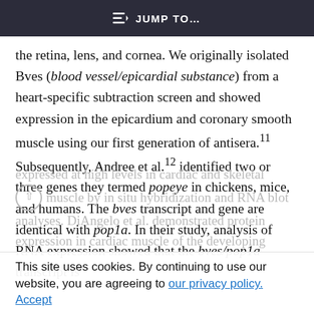≡D JUMP TO…
the retina, lens, and cornea. We originally isolated Bves (blood vessel/epicardial substance) from a heart-specific subtraction screen and showed expression in the epicardium and coronary smooth muscle using our first generation of antisera.11 Subsequently, Andree et al.12 identified two or three genes they termed popeye in chickens, mice, and humans. The bves transcript and gene are identical with pop1a. In their study, analysis of RNA expression showed that the bves/pop1a transcript is
This site uses cookies. By continuing to use our website, you are agreeing to our privacy policy. Accept